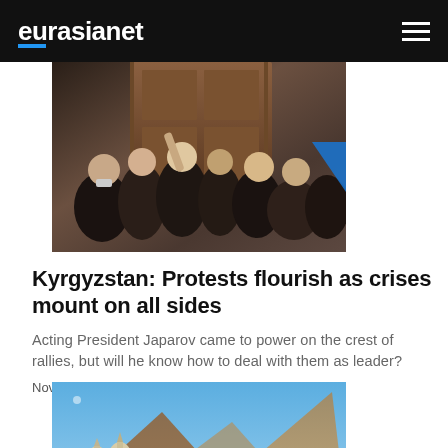eurasianet
[Figure (photo): Crowd of people pushing against a wooden door, some wearing masks]
Kyrgyzstan: Protests flourish as crises mount on all sides
Acting President Japarov came to power on the crest of rallies, but will he know how to deal with them as leader?
Nov 2, 2020
[Figure (photo): Ancient church or monastery buildings with domed towers against a mountainous landscape under a blue sky]